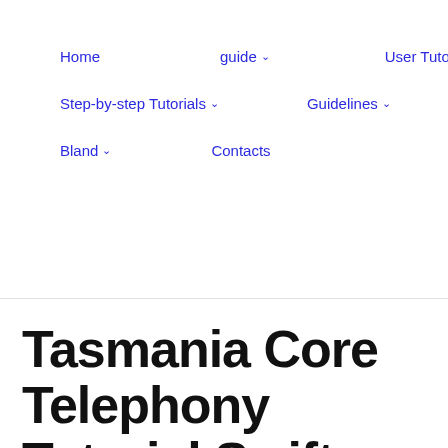Home   guide ▾   User Tutorials ▾   Step-by-step Tutorials ▾   Guidelines ▾   Bland ▾   Contacts
Tasmania Core Telephony Tutorial Swift